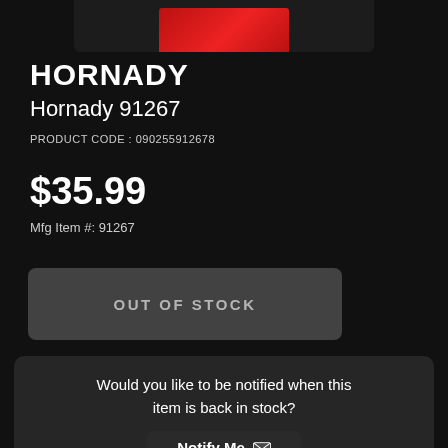[Figure (photo): Product image bar showing partial red Hornady product box against dark background]
HORNADY
Hornady 91267
PRODUCT CODE : 090255912678
$35.99
Mfg Item #: 91267
OUT OF STOCK
Would you like to be notified when this item is back in stock?
Notify Me